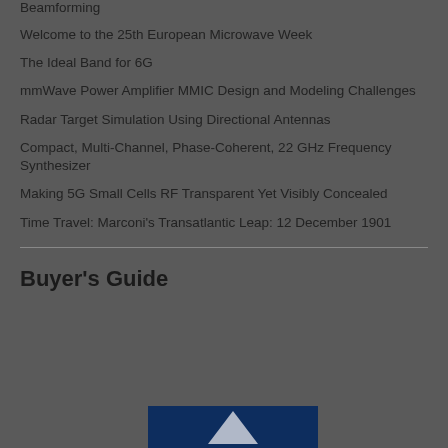Beamforming
Welcome to the 25th European Microwave Week
The Ideal Band for 6G
mmWave Power Amplifier MMIC Design and Modeling Challenges
Radar Target Simulation Using Directional Antennas
Compact, Multi-Channel, Phase-Coherent, 22 GHz Frequency Synthesizer
Making 5G Small Cells RF Transparent Yet Visibly Concealed
Time Travel: Marconi's Transatlantic Leap: 12 December 1901
Buyer's Guide
[Figure (other): Blue box with upward pointing arrow/chevron shape visible at bottom of page]